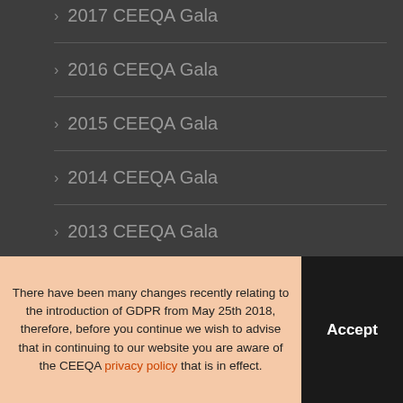> 2017 CEEQA Gala
> 2016 CEEQA Gala
> 2015 CEEQA Gala
> 2014 CEEQA Gala
> 2013 CEEQA Gala
There have been many changes recently relating to the introduction of GDPR from May 25th 2018, therefore, before you continue we wish to advise that in continuing to our website you are aware of the CEEQA privacy policy that is in effect.
Accept